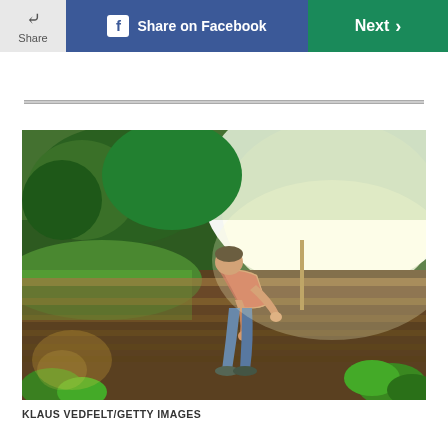Share | Share on Facebook | Next
[Figure (photo): Person bending over raised garden beds, tending to plants. Sunlight backlighting the scene with trees in background. Raised wooden bed frames visible in rows.]
KLAUS VEDFELT/GETTY IMAGES